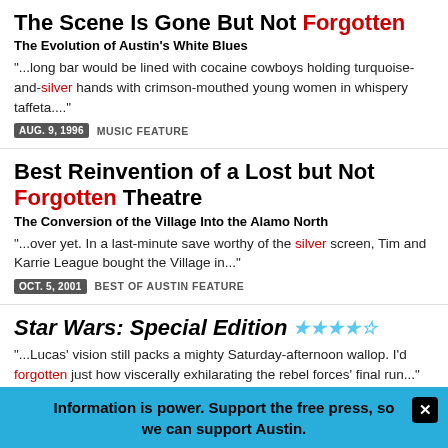The Scene Is Gone But Not Forgotten
The Evolution of Austin's White Blues
"...long bar would be lined with cocaine cowboys holding turquoise-and-silver hands with crimson-mouthed young women in whispery taffeta...."
AUG. 9, 1996  MUSIC FEATURE
Best Reinvention of a Lost but Not Forgotten Theatre
The Conversion of the Village Into the Alamo North
"...over yet. In a last-minute save worthy of the silver screen, Tim and Karrie League bought the Village in..."
OCT. 5, 2001  BEST OF AUSTIN FEATURE
Star Wars: Special Edition ★★★★½
"...Lucas' vision still packs a mighty Saturday-afternoon wallop. I'd forgotten just how viscerally exhilarating the rebel forces' final run..."
Information is power. Support the free press, so we can support Austin.